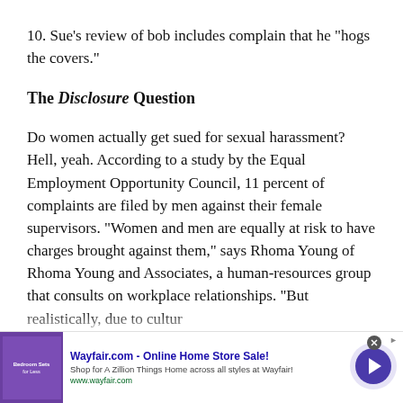10. Sue's review of bob includes complain that he "hogs the covers."
The Disclosure Question
Do women actually get sued for sexual harassment? Hell, yeah. According to a study by the Equal Employment Opportunity Council, 11 percent of complaints are filed by men against their female supervisors. "Women and men are equally at risk to have charges brought against them," says Rhoma Young of Rhoma Young and Associates, a human-resources group that consults on workplace relationships. "But realistically, due to culture
[Figure (other): Advertisement banner for Wayfair.com - Online Home Store Sale! with purple bedroom furniture thumbnail, text 'Shop for A Zillion Things Home across all styles at Wayfair!' and URL www.wayfair.com, with a navigation arrow button.]